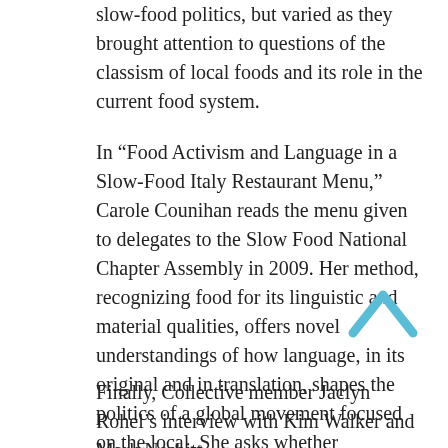slow-food politics, but varied as they brought attention to questions of the classism of local foods and its role in the current food system.
In “Food Activism and Language in a Slow-Food Italy Restaurant Menu,” Carole Counihan reads the menu given to delegates to the Slow Food National Chapter Assembly in 2009. Her method, recognizing food for its linguistic and material qualities, offers novel understandings of how language, in its original and in translation, shapes the politics of a global movement focused on the local. She asks whether “alimentary language” can, in fact, produce a politics that transforms a food system?
Finally, Collective member Jaclyn Rohel’s interview with Kim Walker and Mark Nesbitt